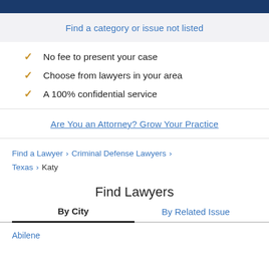Find a category or issue not listed
No fee to present your case
Choose from lawyers in your area
A 100% confidential service
Are You an Attorney? Grow Your Practice
Find a Lawyer > Criminal Defense Lawyers > Texas > Katy
Find Lawyers
By City | By Related Issue
Abilene